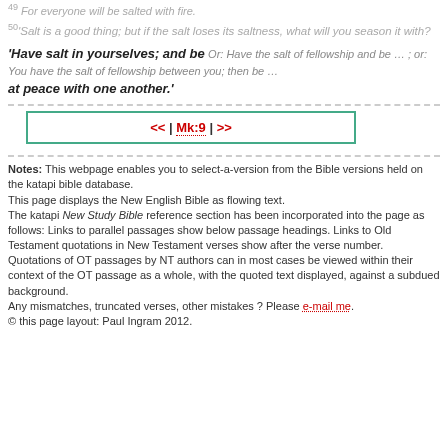49 For everyone will be salted with fire.
50 'Salt is a good thing; but if the salt loses its saltness, what will you season it with?
'Have salt in yourselves; and be Or: Have the salt of fellowship and be ... ; or: You have the salt of fellowship between you; then be ... at peace with one another.'
<< | Mk:9 | >>
Notes: This webpage enables you to select-a-version from the Bible versions held on the katapi bible database. This page displays the New English Bible as flowing text. The katapi New Study Bible reference section has been incorporated into the page as follows: Links to parallel passages show below passage headings. Links to Old Testament quotations in New Testament verses show after the verse number. Quotations of OT passages by NT authors can in most cases be viewed within their context of the OT passage as a whole, with the quoted text displayed, against a subdued background. Any mismatches, truncated verses, other mistakes ? Please e-mail me. © this page layout: Paul Ingram 2012.